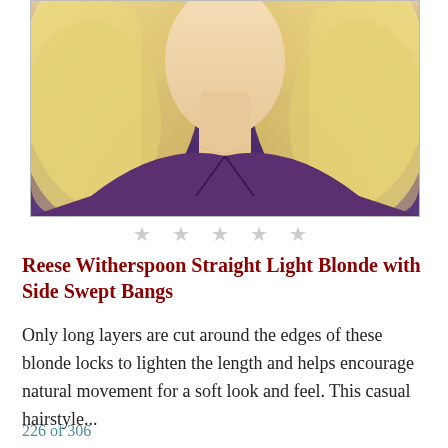[Figure (photo): Close-up photo of a woman with long straight light blonde hair wearing a purple V-neck top, from shoulders up]
★ ★ ★ ★ ★
Reese Witherspoon Straight Light Blonde with Side Swept Bangs
Only long layers are cut around the edges of these blonde locks to lighten the length and helps encourage natural movement for a soft look and feel. This casual hairstyle...
226 of 306